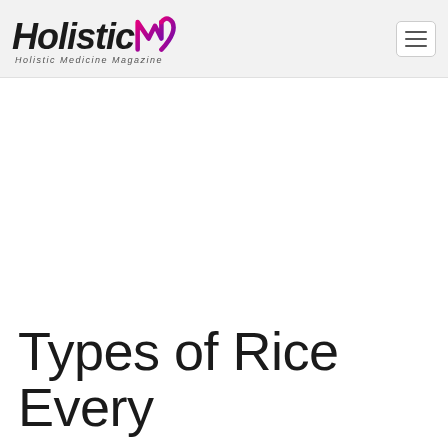HolisticM — Holistic Medicine Magazine
Types of Rice Every